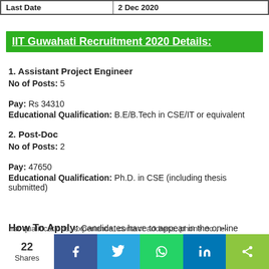| Last Date |  |
| --- | --- |
| Last Date | 2 Dec 2020 |
IIT Guwahati Recruitment 2020 Details:
1. Assistant Project Engineer
No of Posts: 5
Pay: Rs 34310
Educational Qualification: B.E/B.Tech in CSE/IT or equivalent
2. Post-Doc
No of Posts: 2
Pay: 47650
Educational Qualification: Ph.D. in CSE (including thesis submitted)
How To Apply: Candidates have to appear in the on-line
nar qualifications, experience, contact address, phone no., e-